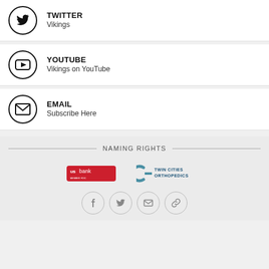TWITTER
Vikings
YOUTUBE
Vikings on YouTube
EMAIL
Subscribe Here
NAMING RIGHTS
[Figure (logo): US Bank logo and Twin Cities Orthopedics logo side by side]
[Figure (infographic): Footer social icons: Facebook, Twitter, Email, Link]